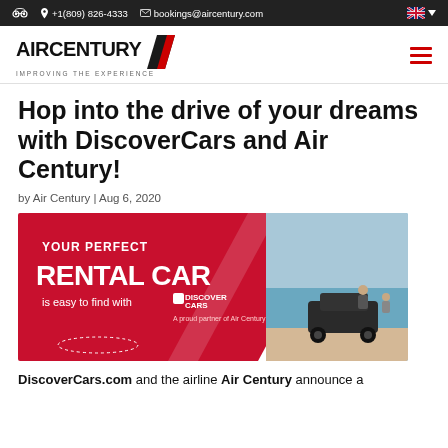+1(809) 826-4333  bookings@aircentury.com
[Figure (logo): Air Century logo with tagline 'IMPROVING THE EXPERIENCE' and red chevron/slash mark]
Hop into the drive of your dreams with DiscoverCars and Air Century!
by Air Century | Aug 6, 2020
[Figure (illustration): Promotional banner for DiscoverCars rental car partnership. Red background on left with text 'YOUR PERFECT RENTAL CAR is easy to find with DISCOVER CARS – A proud partner of Air Century'. Right side shows photo of SUV on a beach with two people.]
DiscoverCars.com and the airline Air Century announce a